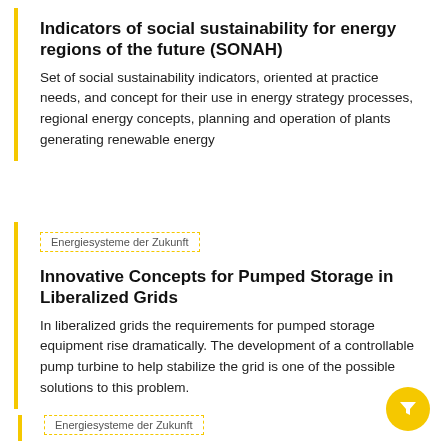Indicators of social sustainability for energy regions of the future (SONAH)
Set of social sustainability indicators, oriented at practice needs, and concept for their use in energy strategy processes, regional energy concepts, planning and operation of plants generating renewable energy
Energiesysteme der Zukunft
Innovative Concepts for Pumped Storage in Liberalized Grids
In liberalized grids the requirements for pumped storage equipment rise dramatically. The development of a controllable pump turbine to help stabilize the grid is one of the possible solutions to this problem.
Energiesysteme der Zukunft